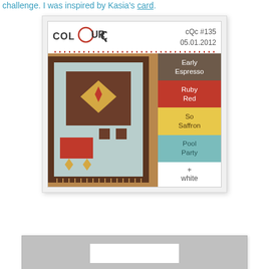challenge. I was inspired by Kasia's card.
[Figure (infographic): ColourQ colour challenge card #135 dated 05.01.2012 showing a patterned rug photograph alongside four color swatches: Early Espresso (dark brown), Ruby Red, So Saffron (yellow), Pool Party (teal), plus white]
[Figure (photo): Partial view of a grey background with a white card/paper in the lower portion of the image]